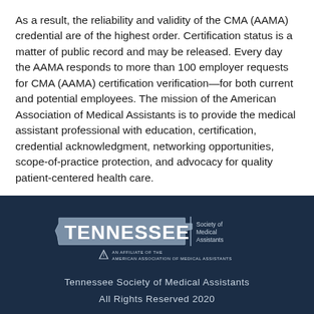As a result, the reliability and validity of the CMA (AAMA) credential are of the highest order. Certification status is a matter of public record and may be released. Every day the AAMA responds to more than 100 employer requests for CMA (AAMA) certification verification—for both current and potential employees. The mission of the American Association of Medical Assistants is to provide the medical assistant professional with education, certification, credential acknowledgment, networking opportunities, scope-of-practice protection, and advocacy for quality patient-centered health care.
[Figure (logo): Tennessee Society of Medical Assistants logo — outline of Tennessee state with the word TENNESSEE in large letters, 'Society of Medical Assistants' to the right, and 'AN AFFILIATE OF THE AMERICAN ASSOCIATION OF MEDICAL ASSISTANTS' below with AAMA triangle logo mark.]
Tennessee Society of Medical Assistants
All Rights Reserved 2020